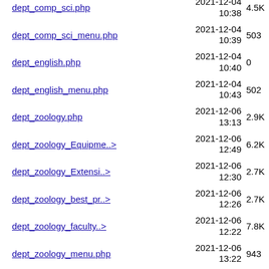dept_comp_sci.php  2021-12-04 10:38  4.5K
dept_comp_sci_menu.php  2021-12-04 10:39  503
dept_english.php  2021-12-04 10:40  0
dept_english_menu.php  2021-12-04 10:43  502
dept_zoology.php  2021-12-06 13:13  2.9K
dept_zoology_Equipme..>  2021-12-06 12:49  6.2K
dept_zoology_Extensi..>  2021-12-06 12:30  2.7K
dept_zoology_best_pr..>  2021-12-06 12:26  2.7K
dept_zoology_faculty..>  2021-12-06 12:22  7.8K
dept_zoology_menu.php  2021-12-06 13:22  943
dept_zoology_mou.php  2021-12-06 12:39  2.4K
executive_committee.php  2022-02-22 12:48  7.0K